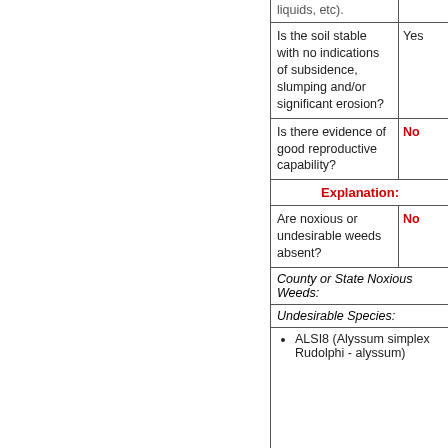liquids, etc).
Is the soil stable with no indications of subsidence, slumping and/or significant erosion?
Yes
Is there evidence of good reproductive capability?
No
Explanation:
Are noxious or undesirable weeds absent?
No
County or State Noxious Weeds:
Undesirable Species:
ALSI8 (Alyssum simplex Rudolphi - alyssum)